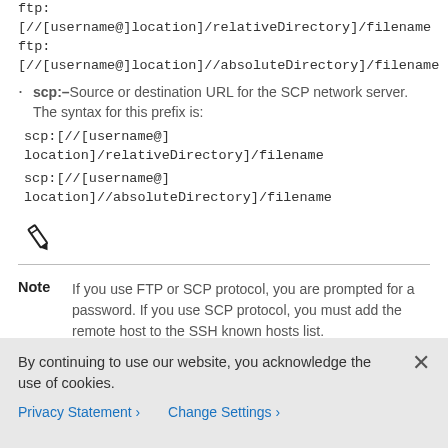ftp:[//[username@]location]/relativeDirectory]/filename
ftp:[//[username@]location]//absoluteDirectory]/filename
scp:–Source or destination URL for the SCP network server. The syntax for this prefix is:
scp:[//[username@] location]/relativeDirectory]/filename
scp:[//[username@] location]//absoluteDirectory]/filename
[Figure (illustration): Pencil/edit icon]
Note  If you use FTP or SCP protocol, you are prompted for a password. If you use SCP protocol, you must add the remote host to the SSH known hosts list.
http:–Source URL for the web server. The syntax for this prefix is:
By continuing to use our website, you acknowledge the use of cookies.
Privacy Statement > Change Settings >